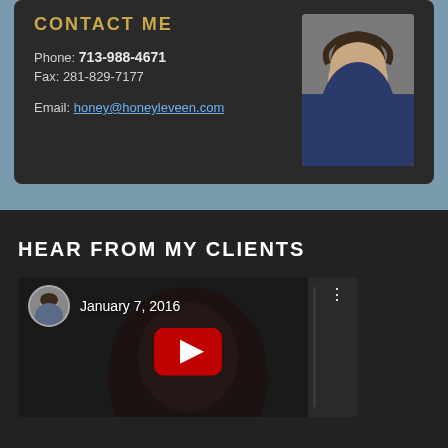CONTACT ME
Phone: 713-988-4671
Fax: 281-829-7177
Email: honey@honeyleveen.com
[Figure (photo): Professional headshot of a woman with curly dark hair, smiling, wearing a blue top]
HEAR FROM MY CLIENTS
[Figure (screenshot): YouTube video thumbnail dated January 7, 2016 with a circular avatar of the same woman and a YouTube play button overlay on a dark background]